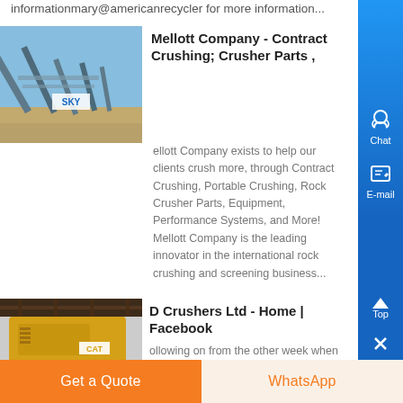informationmary@americanrecycler for more information...
[Figure (photo): Industrial rock crushing/screening equipment facility with conveyor belts, branded SKY]
Mellott Company - Contract Crushing; Crusher Parts ,
Mellott Company exists to help our clients crush more, through Contract Crushing, Portable Crushing, Rock Crusher Parts, Equipment, Performance Systems, and More! Mellott Company is the leading innovator in the international rock crushing and screening business...
[Figure (photo): Large yellow CAT industrial crusher machine under a covered structure]
D Crushers Ltd - Home | Facebook
ollowing on from the other week when